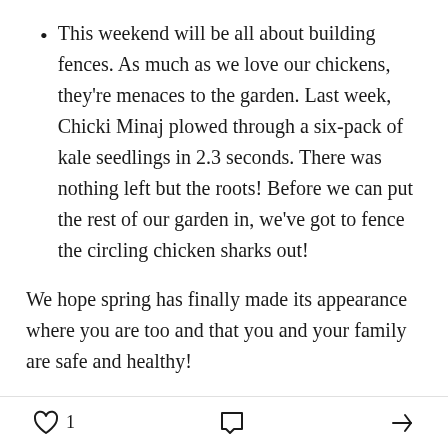This weekend will be all about building fences. As much as we love our chickens, they're menaces to the garden. Last week, Chicki Minaj plowed through a six-pack of kale seedlings in 2.3 seconds. There was nothing left but the roots! Before we can put the rest of our garden in, we've got to fence the circling chicken sharks out!
We hope spring has finally made its appearance where you are too and that you and your family are safe and healthy!
Subscribe to AffirmationChickens
♡ 1  💬  ↗